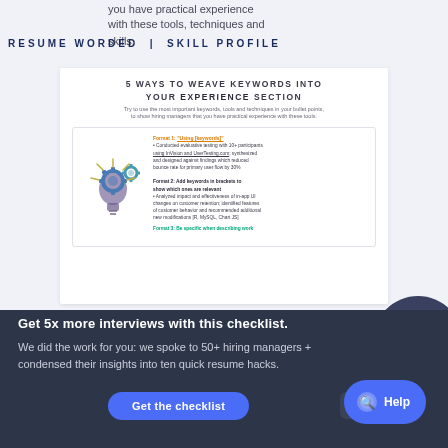RESUME WORDED | SKILL PROFILE
you have practical experience with these tools, techniques and skills.
[Figure (infographic): 5 Ways to Weave Keywords Into Your Experience Section – infographic with gear/lightbulb icon and example resume bullet formats including Format 1 (Using keywords), Format 2 (Add keywords in brackets), Format 3 (Be specific when describing work)]
Get 5x more interviews with this checklist.
We did the work for you: we spoke to 50+ hiring managers + condensed their insights into ten quick resume hacks.
Get the checklist
× Close